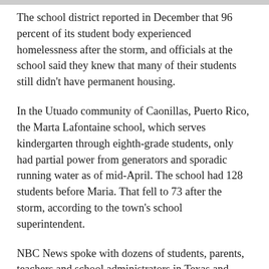The school district reported in December that 96 percent of its student body experienced homelessness after the storm, and officials at the school said they knew that many of their students still didn't have permanent housing.
In the Utuado community of Caonillas, Puerto Rico, the Marta Lafontaine school, which serves kindergarten through eighth-grade students, only had partial power from generators and sporadic running water as of mid-April. The school had 128 students before Maria. That fell to 73 after the storm, according to the town's school superintendent.
NBC News spoke with dozens of students, parents, teachers and school administrators in Texas and